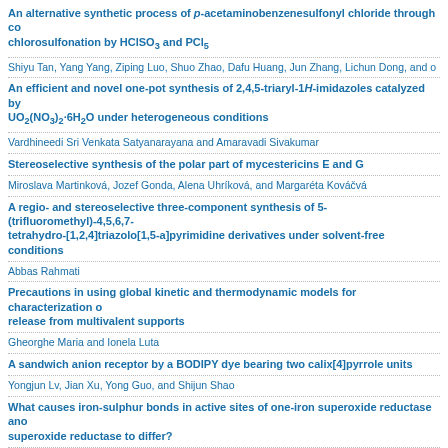An alternative synthetic process of p-acetaminobenzenesulfonyl chloride through chlorosulfonation by HClSO3 and PCl5
Shiyu Tan, Yang Yang, Ziping Luo, Shuo Zhao, Dafu Huang, Jun Zhang, Lichun Dong, and others
An efficient and novel one-pot synthesis of 2,4,5-triaryl-1H-imidazoles catalyzed by UO2(NO3)2·6H2O under heterogeneous conditions
Vardhineedi Sri Venkata Satyanarayana and Amaravadi Sivakumar
Stereoselective synthesis of the polar part of mycestericins E and G
Miroslava Martinková, Jozef Gonda, Alena Uhríková, and Margaréta Kováčvá
A regio- and stereoselective three-component synthesis of 5-(trifluoromethyl)-4,5,6,7-tetrahydro-[1,2,4]triazolo[1,5-a]pyrimidine derivatives under solvent-free conditions
Abbas Rahmati
Precautions in using global kinetic and thermodynamic models for characterization of release from multivalent supports
Gheorghe Maria and Ionela Luta
A sandwich anion receptor by a BODIPY dye bearing two calix[4]pyrrole units
Yongjun Lv, Jian Xu, Yong Guo, and Shijun Shao
What causes iron-sulphur bonds in active sites of one-iron superoxide reductase and superoxide reductase to differ?
Radu Silaghi-Dumitrescu
MTD-PLS and docking study for a series of substituted 2-phenylindole derivatives with oestrogenic activity
Edward Seclaman, Alina Bora, Sorin Avram, Zeno Simon, and Ludovic Kurunczi
© 2022 Chemical Papers